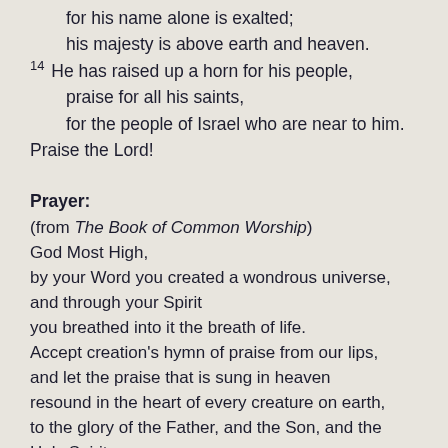Let them praise the name of the Lord,
    for his name alone is exalted;
    his majesty is above earth and heaven.
14 He has raised up a horn for his people,
    praise for all his saints,
    for the people of Israel who are near to him.
Praise the Lord!
Prayer:
(from The Book of Common Worship)
God Most High,
by your Word you created a wondrous universe,
and through your Spirit
you breathed into it the breath of life.
Accept creation's hymn of praise from our lips,
and let the praise that is sung in heaven
resound in the heart of every creature on earth,
to the glory of the Father, and the Son, and the Holy Spirit,